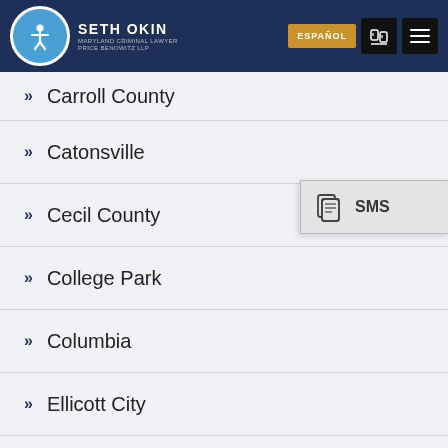Seth Okin | Maryland Criminal Lawyer | Price Benowitz LLP
Carroll County
Catonsville
Cecil County
College Park
Columbia
Ellicott City
Essex
Frederick
Garrett County